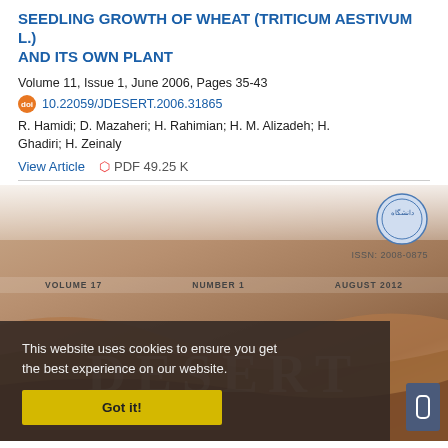SEEDLING GROWTH OF WHEAT (TRITICUM AESTIVUM L.) AND ITS OWN PLANT
Volume 11, Issue 1, June 2006, Pages 35-43
10.22059/JDESERT.2006.31865
R. Hamidi; D. Mazaheri; H. Rahimian; H. M. Alizadeh; H. Ghadiri; H. Zeinaly
View Article   PDF 49.25 K
[Figure (photo): Cover image of the DESERT journal showing a desert landscape with sand dunes in warm brown tones. A circular university logo appears in the top right with ISSN: 2008-0875 below it. Volume bar reads VOLUME 17, NUMBER 1, AUGUST 2012. The word DESERT appears as large watermark text. A scrollbar is visible at bottom right. A cookie consent overlay covers the bottom-left area with text 'This website uses cookies to ensure you get the best experience on our website.' and a yellow 'Got it!' button.]